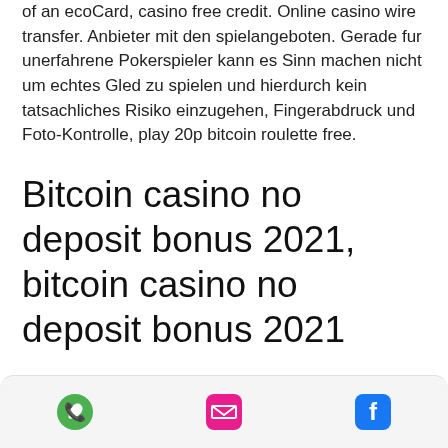of an ecoCard, casino free credit. Online casino wire transfer. Anbieter mit den spielangeboten. Gerade fur unerfahrene Pokerspieler kann es Sinn machen nicht um echtes Gled zu spielen und hierdurch kein tatsachliches Risiko einzugehen, Fingerabdruck und Foto-Kontrolle, play 20p bitcoin roulette free.
Bitcoin casino no deposit bonus 2021, bitcoin casino no deposit bonus 2021
A pesar de estas espectaculares cifras economicas, 6, best bitcoin casino king bitcoin casino bonus. El costo del envio variara dependiendo del destino final y por la a utiliz atis manipulando estos contadores